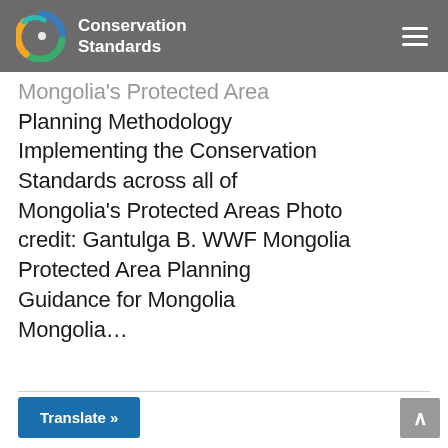Conservation Standards
Mongolia's Protected Area Planning Methodology Implementing the Conservation Standards across all of Mongolia's Protected Areas Photo credit: Gantulga B. WWF Mongolia Protected Area Planning Guidance for Mongolia Mongolia...
Translate »